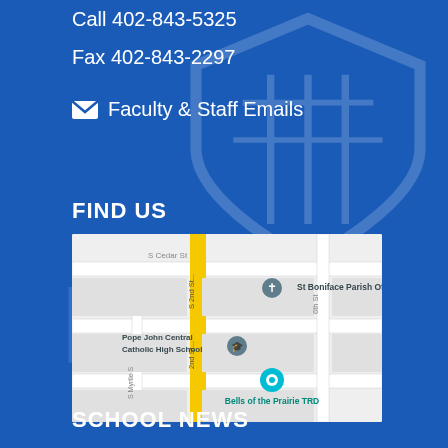Call 402-843-5325
Fax 402-843-2297
✉ Faculty & Staff Emails
FIND US
[Figure (map): Google Maps embed showing location of Pope John Central Catholic High School near St Boniface Parish Office and Bells of the Prairie TRD, with S 2nd St and 6th St visible, S Myrtle St also labeled.]
SCHOOL NEWS